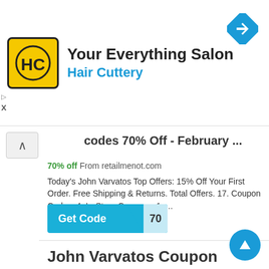[Figure (logo): Hair Cuttery advertisement banner with HC logo, title 'Your Everything Salon' and subtitle 'Hair Cuttery' with navigation diamond icon]
codes 70% Off - February ...
70% off From retailmenot.com
Today's John Varvatos Top Offers: 15% Off Your First Order. Free Shipping & Returns. Total Offers. 17. Coupon Codes. 4. In-Store Coupons. 1. ...
[Figure (other): Get Code button with '70' reveal]
John Varvatos Coupon Codes 2022 (60% discount) - February ...
25% off From couponfollow.com